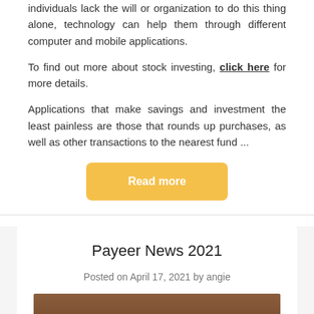individuals lack the will or organization to do this thing alone, technology can help them through different computer and mobile applications.
To find out more about stock investing, click here for more details.
Applications that make savings and investment the least painless are those that rounds up purchases, as well as other transactions to the nearest fund ...
[Figure (other): Orange/yellow 'Read more' button]
Payeer News 2021
Posted on April 17, 2021 by angie
[Figure (photo): Thumbnail image with wooden texture at the bottom of the page]